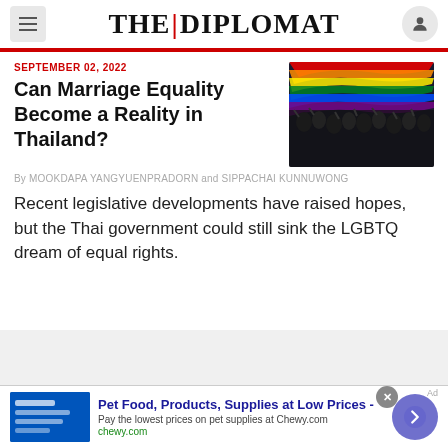THE DIPLOMAT
SEPTEMBER 02, 2022
Can Marriage Equality Become a Reality in Thailand?
[Figure (photo): Crowd of people holding a large rainbow pride flag overhead at a protest or rally]
By MOOKDAPA YANGYUENPRADORN and SIPPACHAI KUNNUWONG
Recent legislative developments have raised hopes, but the Thai government could still sink the LGBTQ dream of equal rights.
Pet Food, Products, Supplies at Low Prices - Pay the lowest prices on pet supplies at Chewy.com chewy.com